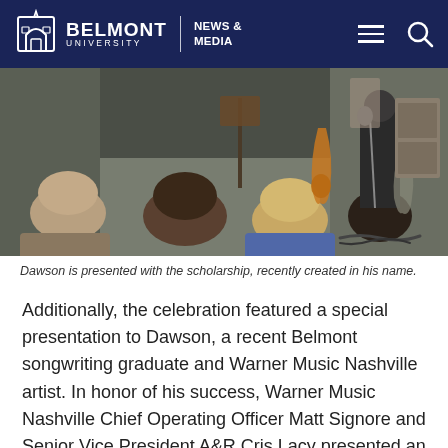BELMONT UNIVERSITY | NEWS & MEDIA
[Figure (photo): Audience members seated watching a performer on stage with guitars visible; indoor music event setting.]
Dawson is presented with the scholarship, recently created in his name.
Additionally, the celebration featured a special presentation to Dawson, a recent Belmont songwriting graduate and Warner Music Nashville artist. In honor of his success, Warner Music Nashville Chief Operating Officer Matt Signore and Senior Vice President A&R Cris Lacy presented an endowed $25,000 scholarship in Dawson's name, and the university matched the contribution, creating a $50,000 endowed scholarship. Dawson said, "The Belmont songwriting program has always been at the center of my